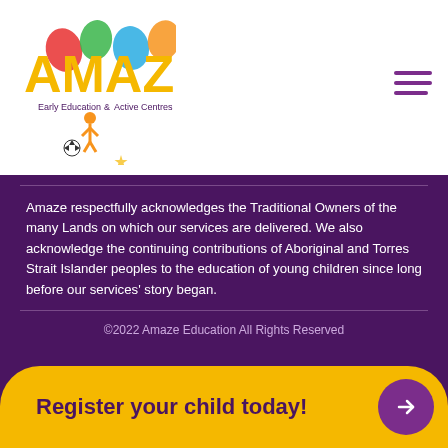[Figure (logo): AMAZE Early Education & Active Centres logo with colorful figures and soccer ball]
Amaze respectfully acknowledges the Traditional Owners of the many Lands on which our services are delivered. We also acknowledge the continuing contributions of Aboriginal and Torres Strait Islander peoples to the education of young children since long before our services' story began.
©2022 Amaze Education All Rights Reserved
Register your child today!